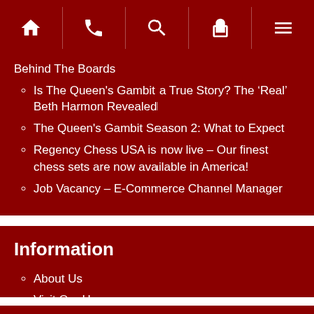[Figure (screenshot): Navigation bar with home, phone, search, basket, and menu icons on dark red background]
Behind The Boards
Is The Queen's Gambit a True Story? The ‘Real’ Beth Harmon Revealed
The Queen's Gambit Season 2: What to Expect
Regency Chess USA is now live – Our finest chess sets are now available in America!
Job Vacancy – E-Commerce Channel Manager
Information
About Us
Visit Our Homepage
Categories